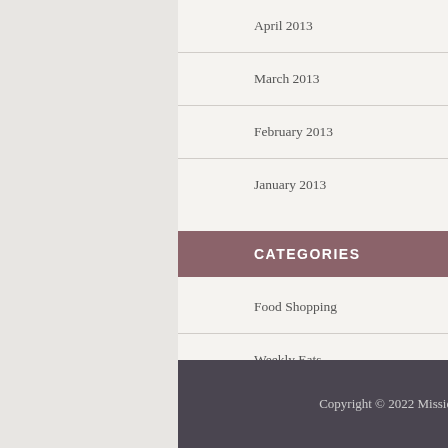April 2013
March 2013
February 2013
January 2013
CATEGORIES
Food Shopping
Weekly Eats
What to eat
Copyright © 2022 Mission Delicious - The relentless pursuit of deliciousness.